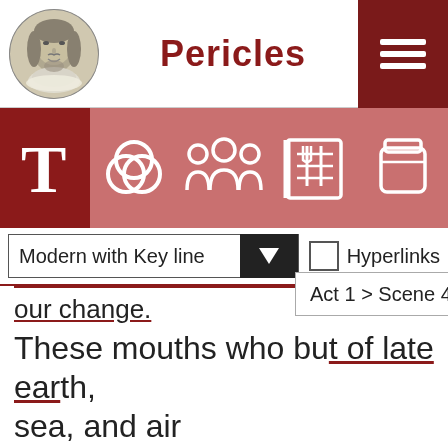[Figure (screenshot): Screenshot of a Shakespeare app showing Pericles play text with navigation icons, dropdown menus for 'Modern with Key line' and 'Act 1 > Scene 4', and play text including lines about mouths, sea, air, content, please, and creatures.]
Pericles
our change.
These mouths who but of late earth, sea, and air
Were all too little to content and please,
Although they gave their creatures in